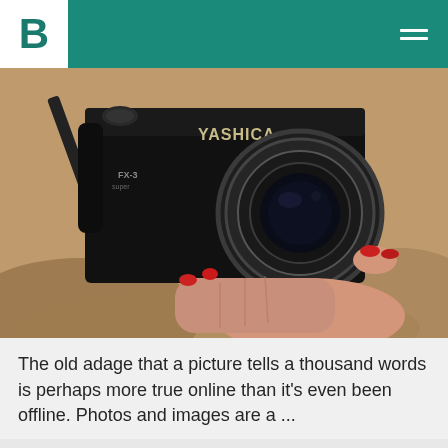B
[Figure (photo): A person with red nail polish holding a black Yashica FX-3 Super film camera against a tan/beige knit fabric background. The camera lens and body are prominent.]
The old adage that a picture tells a thousand words is perhaps more true online than it's even been offline. Photos and images are a ...